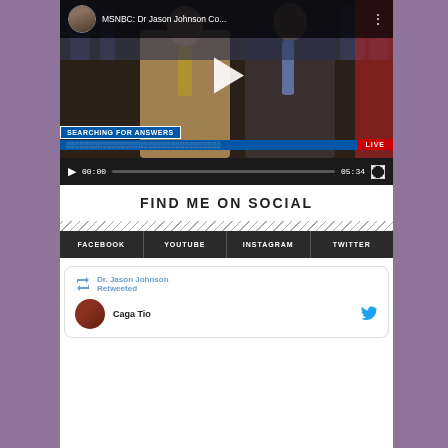[Figure (screenshot): YouTube-style embedded video player showing MSNBC segment titled 'MSNBC: Dr Jason Johnson Co...' with two men in suits on screen. Lower third reads 'SEARCHING FOR ANSWERS' with 'LIVE' badge. Controls show 00:00 / 05:34.]
FIND ME ON SOCIAL
FACEBOOK
YOUTUBE
INSTAGRAM
TWITTER
Dr. Jason Johnson Retweeted
Caga Tio